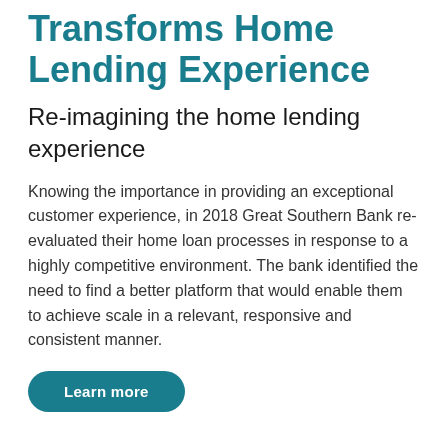Transforms Home Lending Experience
Re-imagining the home lending experience
Knowing the importance in providing an exceptional customer experience, in 2018 Great Southern Bank re-evaluated their home loan processes in response to a highly competitive environment. The bank identified the need to find a better platform that would enable them to achieve scale in a relevant, responsive and consistent manner.
Learn more